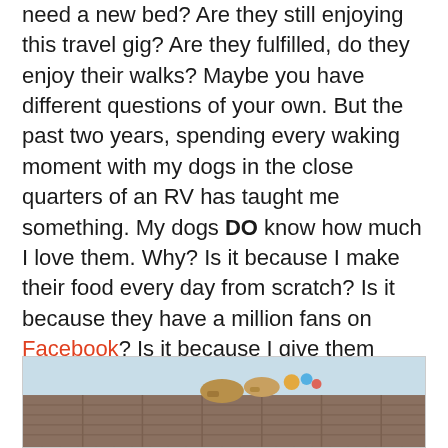need a new bed?  Are they still enjoying this travel gig?  Are they fulfilled, do they enjoy their walks?  Maybe you have different questions of your own. But the past two years, spending every waking moment with my dogs in the close quarters of an RV has taught me something.  My dogs DO know how much I love them.  Why?  Is it because I make their food every day from scratch? Is it because they have a million fans on Facebook? Is it because I give them massages? No, no, and no.  But I had the answer to the question of if my dogs know how much I love them all along.
[Figure (photo): Partial photograph showing dogs or people on what appears to be a rustic wooden structure or wagon against a light sky background]